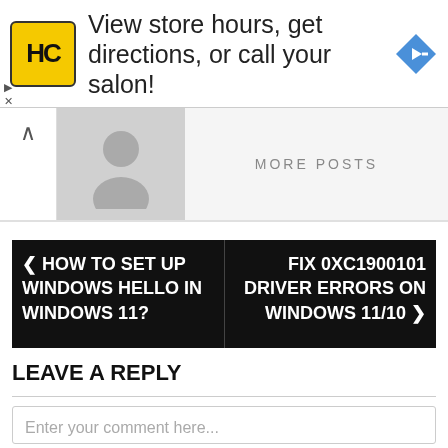[Figure (infographic): Advertisement banner: HC logo (yellow square with black HC letters), text 'View store hours, get directions, or call your salon!', blue diamond navigation arrow icon on right]
[Figure (infographic): More posts section with up chevron, grey avatar placeholder, and 'MORE POSTS' label]
[Figure (infographic): Navigation bar with two posts: left '< HOW TO SET UP WINDOWS HELLO IN WINDOWS 11?' and right 'FIX 0XC1900101 DRIVER ERRORS ON WINDOWS 11/10 >']
LEAVE A REPLY
Enter your comment here...